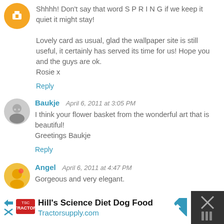Shhhh! Don't say that word S P R I N G if we keep it quiet it might stay!

Lovely card as usual, glad the wallpaper site is still useful, it certainly has served its time for us! Hope you and the guys are ok.
Rosie x
Reply
Baukje  April 6, 2011 at 3:05 PM
I think your flower basket from the wonderful art that is beautiful!
Greetings Baukje
Reply
Angel  April 6, 2011 at 4:47 PM
Gorgeous and very elegant.
Hill's Science Diet Dog Food
Tractorsupply.com